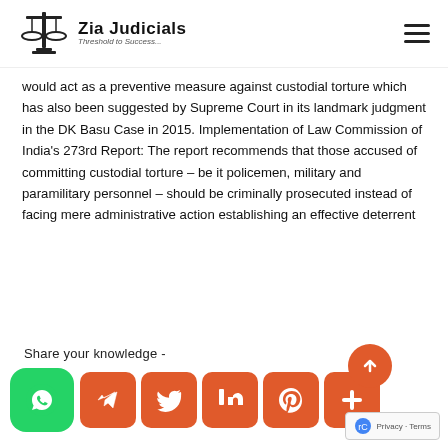Zia Judicials — Threshold to Success...
would act as a preventive measure against custodial torture which has also been suggested by Supreme Court in its landmark judgment in the DK Basu Case in 2015. Implementation of Law Commission of India's 273rd Report: The report recommends that those accused of committing custodial torture – be it policemen, military and paramilitary personnel – should be criminally prosecuted instead of facing mere administrative action establishing an effective deterrent
Share your knowledge -